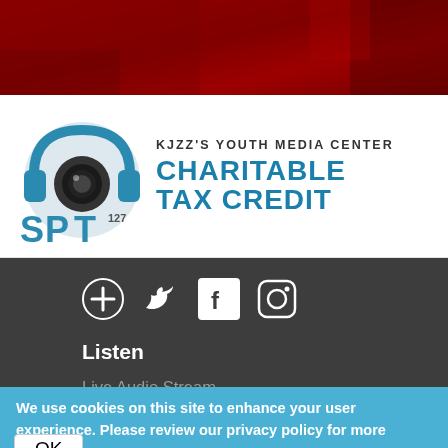[Figure (illustration): Dark red/maroon abstract banner image at top of page]
[Figure (logo): SPOT 127 KJZZ's Youth Media Center Charitable Tax Credit logo with headphone camera icon in teal/blue and text]
[Figure (illustration): Social media icons: podcast/plus icon, Twitter bird, Facebook F, Instagram camera - white on dark background]
Listen
Live Audio Stream
Listen to JazzPHX
Listening Options
We use cookies on this site to enhance your user experience. Please review our privacy policy for more information.
OK